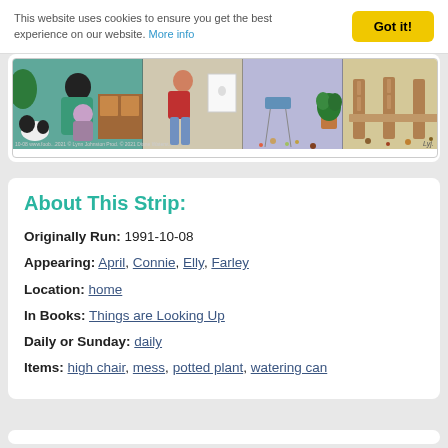This website uses cookies to ensure you get the best experience on our website. More info  Got it!
[Figure (illustration): A comic strip panel showing characters in a home scene: a woman in green top, a child, another figure in red, and a messy kitchen/dining area with a dog. Date: 10-08, www.foob... watermark visible.]
About This Strip:
Originally Run: 1991-10-08
Appearing: April, Connie, Elly, Farley
Location: home
In Books: Things are Looking Up
Daily or Sunday: daily
Items: high chair, mess, potted plant, watering can